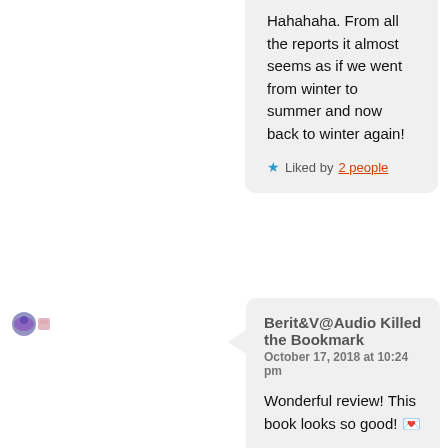Hahahaha. From all the reports it almost seems as if we went from winter to summer and now back to winter again!
Liked by 2 people
Berit&V@Audio Killed the Bookmark
October 17, 2018 at 10:24 pm
Wonderful review! This book looks so good! 💕
Liked by 2 people
Reply